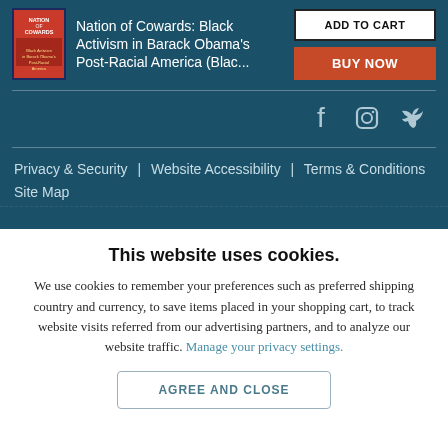[Figure (illustration): Book cover for 'Nation of Cowards: Black Activism in Barack Obama's Post-Racial America']
Nation of Cowards: Black Activism in Barack Obama's Post-Racial America (Blac...
ADD TO CART
BUY NOW
[Figure (other): Social media icons: Facebook, Instagram, Twitter]
Privacy & Security | Website Accessibility | Terms & Conditions
Site Map
This website uses cookies.
We use cookies to remember your preferences such as preferred shipping country and currency, to save items placed in your shopping cart, to track website visits referred from our advertising partners, and to analyze our website traffic. Manage your privacy settings.
AGREE AND CLOSE